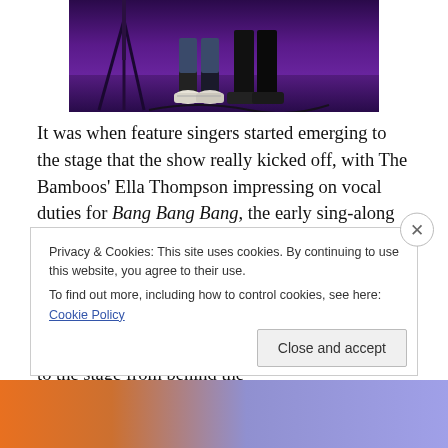[Figure (photo): Partial view of a performer's feet and legs on a purple-lit stage with a microphone stand visible]
It was when feature singers started emerging to the stage that the show really kicked off, with The Bamboos' Ella Thompson impressing on vocal duties for Bang Bang Bang, the early sing-along remaining the night's highlight, though closely followed by The View's Kyle Falconer shyly reprising his Bike Song vocals.  Business Intl songs stole the show from the current album selection.  The show came to life when Mark took to the stage from behind the
Privacy & Cookies: This site uses cookies. By continuing to use this website, you agree to their use.
To find out more, including how to control cookies, see here: Cookie Policy